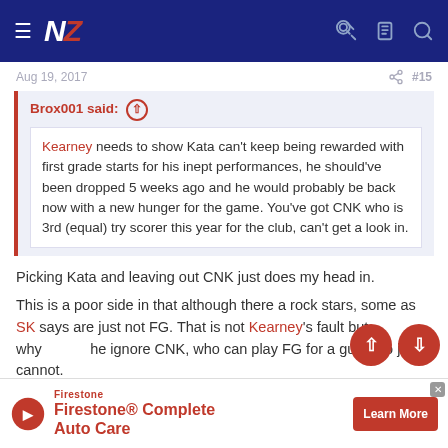NZ (navigation bar with hamburger menu, logo, key, clipboard, and search icons)
Aug 19, 2017   #15
Brox001 said: ↑
Kearney needs to show Kata can't keep being rewarded with first grade starts for his inept performances, he should've been dropped 5 weeks ago and he would probably be back now with a new hunger for the game. You've got CNK who is 3rd (equal) try scorer this year for the club, can't get a look in.
Picking Kata and leaving out CNK just does my head in.
This is a poor side in that although there a rock stars, some as SK says are just not FG. That is not Kearney's fault but why he ignore CNK, who can play FG for a guy who just cannot.
[Figure (screenshot): Firestone Complete Auto Care advertisement with Learn More button]